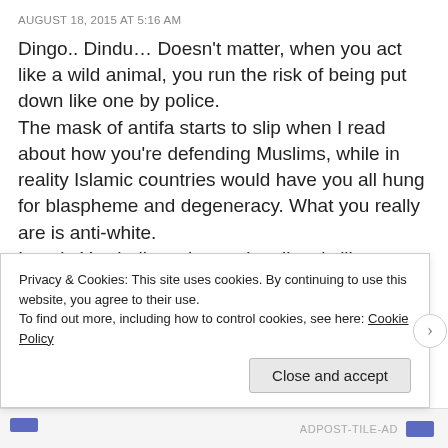AUGUST 18, 2015 AT 5:16 AM
Dingo.. Dindu… Doesn't matter, when you act like a wild animal, you run the risk of being put down like one by police.
The mask of antifa starts to slip when I read about how you're defending Muslims, while in reality Islamic countries would have you all hung for blaspheme and degeneracy. What you really are is anti-white.
I get it. You believe that nationalism is like a religion. This is where you're flawed. While religion takes faith to be a believer, nationalism is just a natural occurrence that stems from our ancestral roots with tribal societies. You basically scream like a bunch of spoiled children that
Privacy & Cookies: This site uses cookies. By continuing to use this website, you agree to their use.
To find out more, including how to control cookies, see here: Cookie Policy
Close and accept